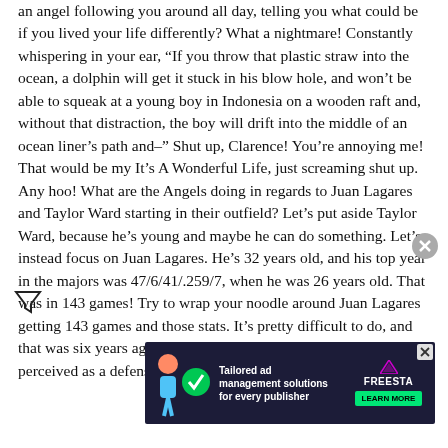an angel following you around all day, telling you what could be if you lived your life differently? What a nightmare! Constantly whispering in your ear, “If you throw that plastic straw into the ocean, a dolphin will get it stuck in his blow hole, and won’t be able to squeak at a young boy in Indonesia on a wooden raft and, without that distraction, the boy will drift into the middle of an ocean liner’s path and–” Shut up, Clarence! You’re annoying me! That would be my It’s A Wonderful Life, just screaming shut up. Any hoo! What are the Angels doing in regards to Juan Lagares and Taylor Ward starting in their outfield? Let’s put aside Taylor Ward, because he’s young and maybe he can do something. Let’s instead focus on Juan Lagares. He’s 32 years old, and his top year in the majors was 47/6/41/.259/7, when he was 26 years old. That was in 143 games! Try to wrap your noodle around Juan Lagares getting 143 games and those stats. It’s pretty difficult to do, and that was six years ago! Lagares is in the majors because he is perceived as a defensive specialist. On its face, a 32-year-old... just a step so... more
[Figure (screenshot): Advertisement overlay: dark navy background with illustration of a person and green check mark. Text reads 'Tailored ad management solutions for every publisher'. Right side shows FREESTA logo and green LEARN MORE button. Small X close button visible.]